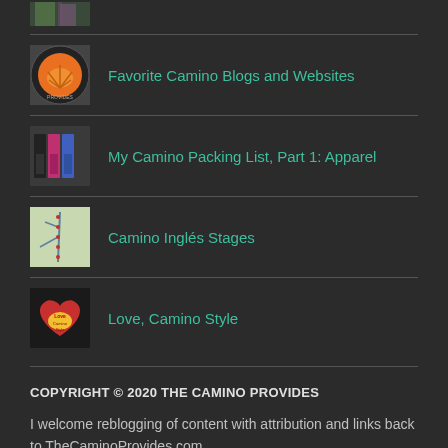[Figure (photo): Partial thumbnail of two people on a trail, cropped at top]
Favorite Camino Blogs and Websites
My Camino Packing List, Part 1: Apparel
Camino Inglés Stages
Love, Camino Style
COPYRIGHT © 2020 THE CAMINO PROVIDES
I welcome reblogging of content with attribution and links back to TheCaminoProvides.com.
[Figure (logo): Creative Commons license badge icons]